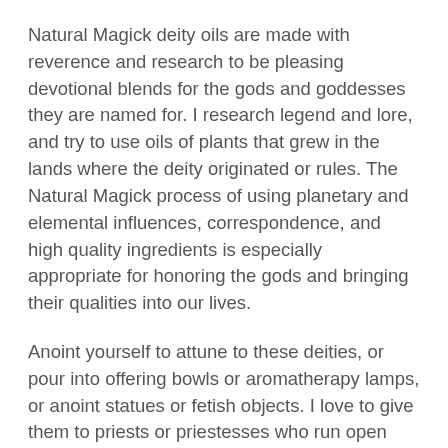Natural Magick deity oils are made with reverence and research to be pleasing devotional blends for the gods and goddesses they are named for. I research legend and lore, and try to use oils of plants that grew in the lands where the deity originated or rules. The Natural Magick process of using planetary and elemental influences, correspondence, and high quality ingredients is especially appropriate for honoring the gods and bringing their qualities into our lives.
Anoint yourself to attune to these deities, or pour into offering bowls or aromatherapy lamps, or anoint statues or fetish objects. I love to give them to priests or priestesses who run open circles or invoke our patron gods and goddesses.
These oils are in beautiful round 1/3 ounce bottles, blended in 100% Coconut and/or Jojoba oil, so with any care they should last a very long time. They are priced according to the ingredients requested by the gods.